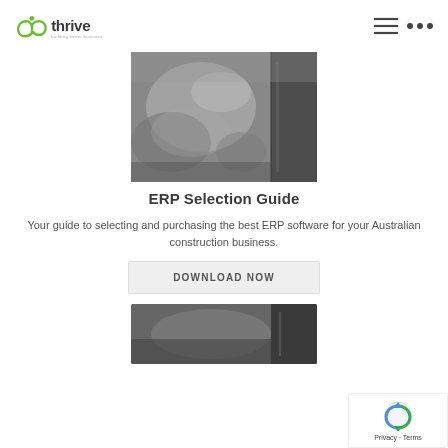thrive - building better business
[Figure (photo): ERP Selection Guide book cover image, grayscale photo of a construction site]
ERP Selection Guide
Your guide to selecting and purchasing the best ERP software for your Australian construction business.
DOWNLOAD NOW
[Figure (photo): Second guide book cover image, partially visible at bottom of page]